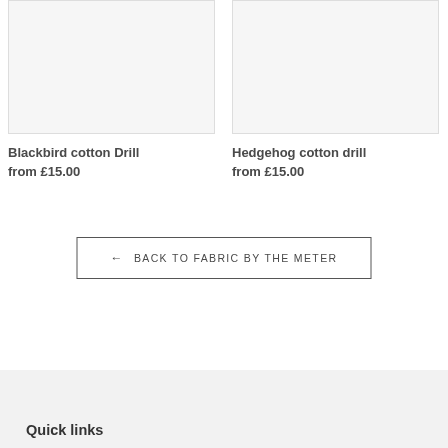[Figure (photo): Product image placeholder for Blackbird cotton Drill - light grey/off-white background rectangle]
Blackbird cotton Drill
from £15.00
[Figure (photo): Product image placeholder for Hedgehog cotton drill - light grey/off-white background rectangle]
Hedgehog cotton drill
from £15.00
← BACK TO FABRIC BY THE METER
Quick links